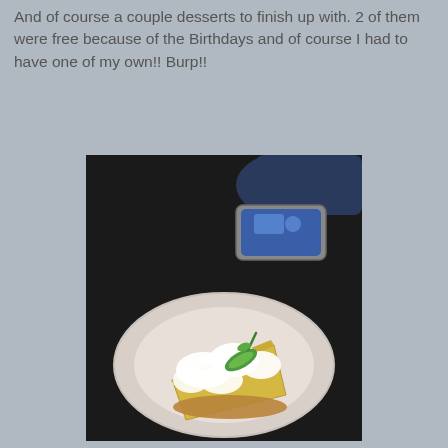And of course a couple desserts to finish up with.  2 of them were free because of the Birthdays and of course I had to have one of my own!!  Burp!!
[Figure (photo): A slice of key lime pie topped with whipped cream and a lime slice garnish, served on a white plate on a black tablecloth, with a smartphone visible in the background.]